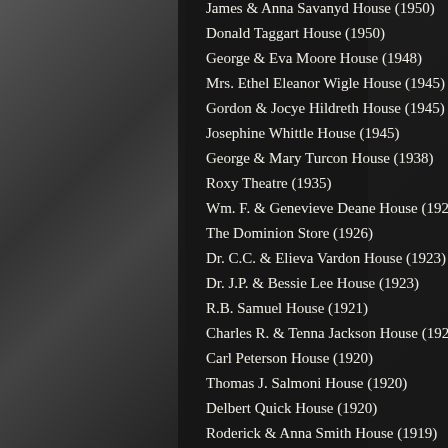James & Anna Savanyd House (1950)
Donald Taggart House (1950)
George & Eva Moore House (1948)
Mrs. Ethel Eleanor Wigle House (1945)
Gordon & Jocye Hildreth House (1945)
Josephine Whittle House (1945)
George & Mary Turcon House (1938)
Roxy Theatre (1935)
Wm. F. & Genevieve Deane House (1928)
The Dominion Store (1926)
Dr. C.C. & Elieva Vardon House (1923)
Dr. J.P. & Bessie Lee House (1923)
R.B. Samuel House (1921)
Charles R. & Tenna Jackson House (1921)
Carl Peterson House (1920)
Thomas J. Salmoni House (1920)
Delbert Quick House (1920)
Roderick & Anna Smith House (1919)